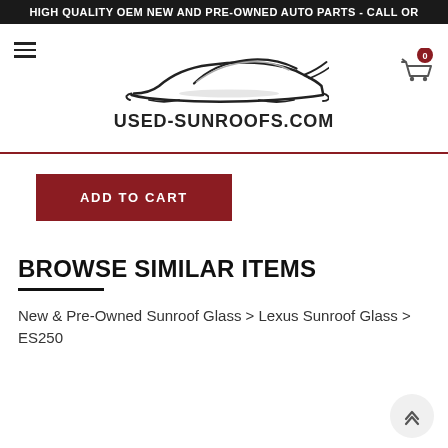HIGH QUALITY OEM NEW AND PRE-OWNED AUTO PARTS - CALL OR
[Figure (logo): Used-Sunroofs.com logo with stylized car silhouette above the text USED-SUNROOFS.COM]
ADD TO CART
BROWSE SIMILAR ITEMS
New & Pre-Owned Sunroof Glass > Lexus Sunroof Glass > ES250